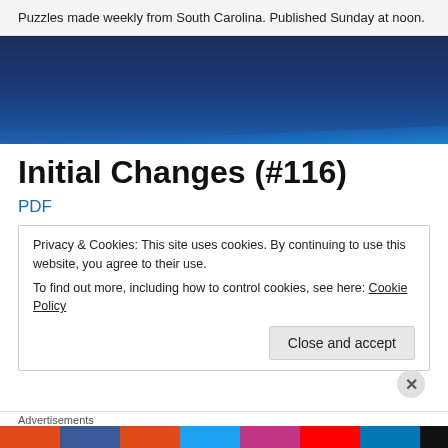Puzzles made weekly from South Carolina. Published Sunday at noon.
[Figure (other): Dark blue gradient banner image]
Initial Changes (#116)
PDF
Privacy & Cookies: This site uses cookies. By continuing to use this website, you agree to their use.
To find out more, including how to control cookies, see here: Cookie Policy
Close and accept
Advertisements